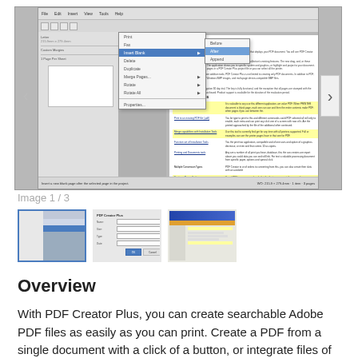[Figure (screenshot): Screenshot of PDF Creator Plus application showing a dropdown menu with 'Insert Blank' selected, a document preview area, left navigation panel, and document content with highlighted sections. Navigation arrows on left and right sides.]
Image 1 / 3
[Figure (screenshot): Three thumbnail images showing different views of the PDF Creator Plus application: 1) main application window with left panel and content area, 2) a form/dialog view, 3) application with dark blue header and orange toolbar.]
Overview
With PDF Creator Plus, you can create searchable Adobe PDF files as easily as you can print. Create a PDF from a single document with a click of a button, or integrate files of different formats into a single PDF